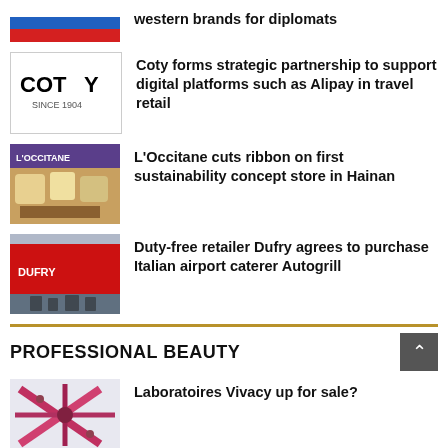[Figure (photo): Russian flag colored thumbnail (blue, red stripes)]
western brands for diplomats
[Figure (logo): Coty SINCE 1904 logo on white background]
Coty forms strategic partnership to support digital platforms such as Alipay in travel retail
[Figure (photo): L'Occitane store interior with products]
L'Occitane cuts ribbon on first sustainability concept store in Hainan
[Figure (photo): Dufry red store front with shoppers]
Duty-free retailer Dufry agrees to purchase Italian airport caterer Autogrill
PROFESSIONAL BEAUTY
[Figure (photo): Laboratoires Vivacy product packaging with geometric design]
Laboratoires Vivacy up for sale?
[Figure (photo): Olaplex product packaging partial view]
Olaplex reports 38.6 per cent net sales growth in Q2